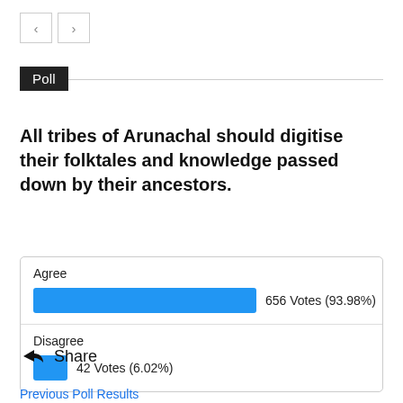Poll
All tribes of Arunachal should digitise their folktales and knowledge passed down by their ancestors.
[Figure (bar-chart): Poll Results]
Share
Previous Poll Results